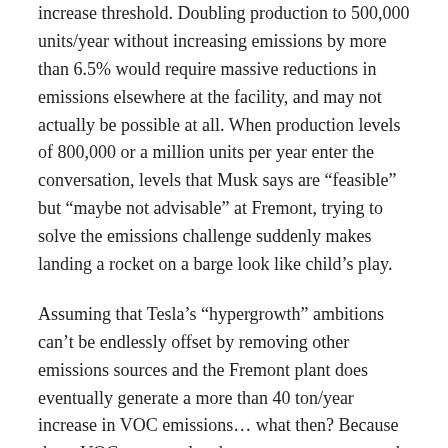increase threshold. Doubling production to 500,000 units/year without increasing emissions by more than 6.5% would require massive reductions in emissions elsewhere at the facility, and may not actually be possible at all. When production levels of 800,000 or a million units per year enter the conversation, levels that Musk says are “feasible” but “maybe not advisable” at Fremont, trying to solve the emissions challenge suddenly makes landing a rocket on a barge look like child’s play.
Assuming that Tesla’s “hypergrowth” ambitions can’t be endlessly offset by removing other emissions sources and the Fremont plant does eventually generate a more than 40 ton/year increase in VOC emissions… what then? Because those VOCs are regulated as ozone precursors and Alameda County is a marginal non-attainment area for 8-hour ozone, Tesla’s permitting process would be tightened from one that requires the use of “Best Available Control Technology” (BACT) to one that requires the “Lowest Achievable Emission